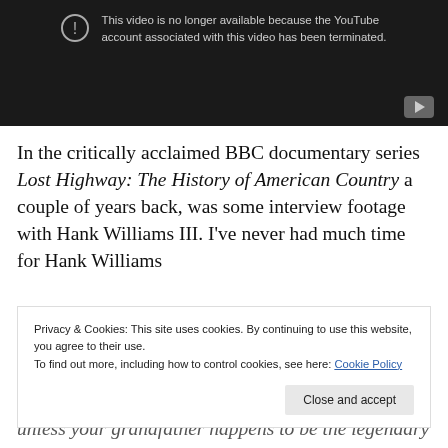[Figure (screenshot): YouTube video unavailable placeholder with dark background, warning icon, message 'This video is no longer available because the YouTube account associated with this video has been terminated.' and a YouTube play button icon in the bottom right.]
In the critically acclaimed BBC documentary series Lost Highway: The History of American Country a couple of years back, was some interview footage with Hank Williams III. I've never had much time for Hank Williams
Privacy & Cookies: This site uses cookies. By continuing to use this website, you agree to their use.
To find out more, including how to control cookies, see here: Cookie Policy
[Close and accept]
unless your grandfather happens to be the legendary